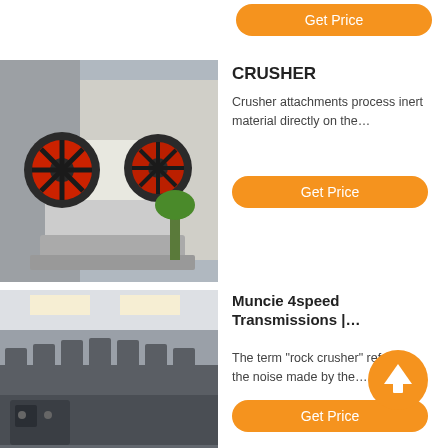[Figure (photo): Orange/red flywheel jaw crusher machine photographed outdoors, white body, industrial setting]
CRUSHER
Crusher attachments process inert material directly on the…
Get Price
[Figure (photo): Close-up of large industrial gear teeth / track mechanism, dark grey metal, industrial machinery]
Muncie 4speed Transmissions |…
The term "rock crusher" refers to the noise made by the…
Get Price
[Figure (photo): Industrial cone crushers in a factory, multiple grey crushers in a row]
Namibia Powerscreen Mobile Crusher for Sale
Namibia powerscreen mobile crusher for sale. 1. DSH254….